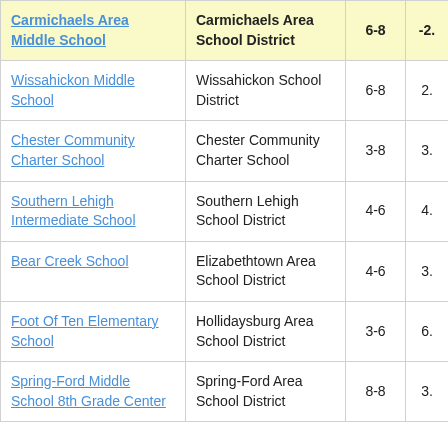| School Name | District | Grades | Score |
| --- | --- | --- | --- |
| Carmichaels Area Middle School | Carmichaels Area School District | 6-8 | -2. |
| Wissahickon Middle School | Wissahickon School District | 6-8 | 2. |
| Chester Community Charter School | Chester Community Charter School | 3-8 | 3. |
| Southern Lehigh Intermediate School | Southern Lehigh School District | 4-6 | 4. |
| Bear Creek School | Elizabethtown Area School District | 4-6 | 3. |
| Foot Of Ten Elementary School | Hollidaysburg Area School District | 3-6 | 6. |
| Spring-Ford Middle School 8th Grade Center | Spring-Ford Area School District | 8-8 | 3. |